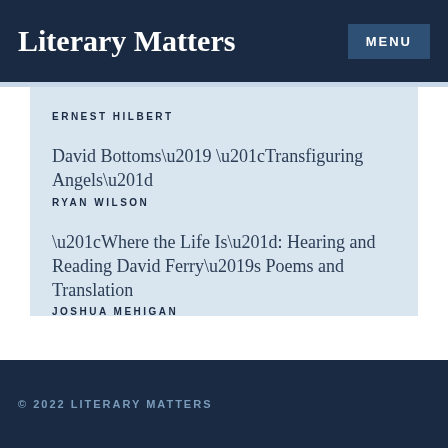Literary Matters
ERNEST HILBERT
David Bottoms’ “Transfiguring Angels”
RYAN WILSON
“Where the Life Is”: Hearing and Reading David Ferry’s Poems and Translation
JOSHUA MEHIGAN
© 2022 LITERARY MATTERS